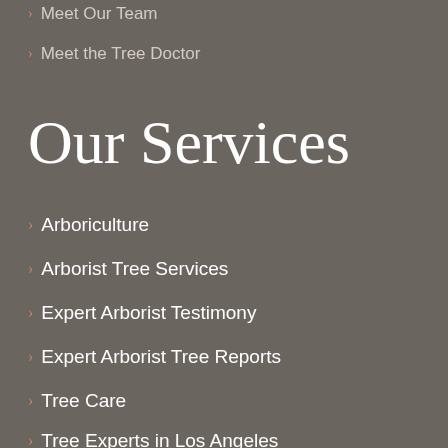Meet Our Team
Meet the Tree Doctor
Our Services
Arboriculture
Arborist Tree Services
Expert Arborist Testimony
Expert Arborist Tree Reports
Tree Care
Tree Experts in Los Angeles
Tree Services